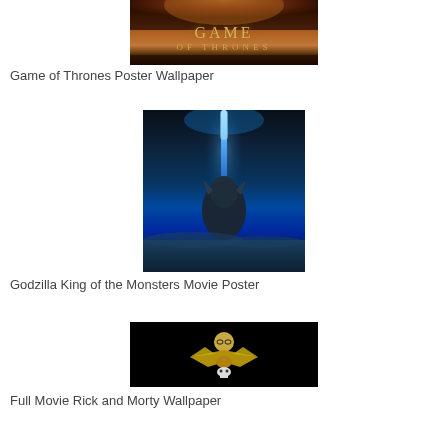[Figure (photo): Game of Thrones Poster Wallpaper - dark orange/golden tones with the show's logo]
Game of Thrones Poster Wallpaper
[Figure (photo): Godzilla King of the Monsters Movie Poster - dark blue underwater scene with blue beam of light and monster silhouette]
Godzilla King of the Monsters Movie Poster
[Figure (photo): Full Movie Rick and Morty Wallpaper - black background with small character figure in center]
Full Movie Rick and Morty Wallpaper